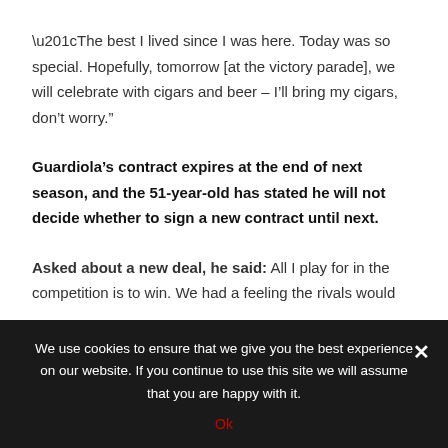“The best I lived since I was here. Today was so special. Hopefully, tomorrow [at the victory parade], we will celebrate with cigars and beer – I’ll bring my cigars, don’t worry.”
Guardiola’s contract expires at the end of next season, and the 51-year-old has stated he will not decide whether to sign a new contract until next.
Asked about a new deal, he said: All I play for in the competition is to win. We had a feeling the rivals would
We use cookies to ensure that we give you the best experience on our website. If you continue to use this site we will assume that you are happy with it.
Ok